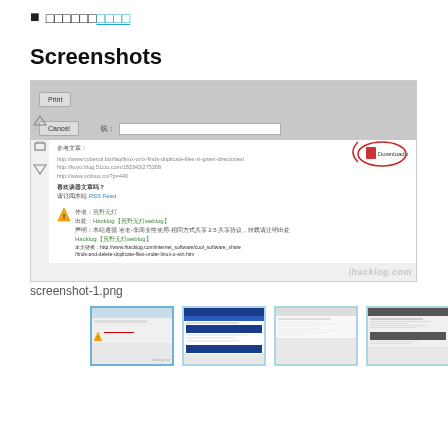□□□□□□□□□□ (linked text with underline)
Screenshots
[Figure (screenshot): Main screenshot showing a webpage with Chinese text, reference URLs (http://www.cyberoti.biz/faq/linux-unix-finds-duplicate-files-in-given-directories/, http://kuyu.blog.51cto.com/183343/275268, http://www.xclinux.cn/?p=440), a 'Download as PDF' button circled in red, navigation icons on the left, warning icon, author block with green text, and ihacklog.com watermark]
screenshot-1.png
[Figure (screenshot): First thumbnail - light blue bordered screenshot of webpage]
[Figure (screenshot): Second thumbnail - screenshot with dark blue taskbar header]
[Figure (screenshot): Third thumbnail - screenshot with gray UI]
[Figure (screenshot): Fourth thumbnail - screenshot with dark header]